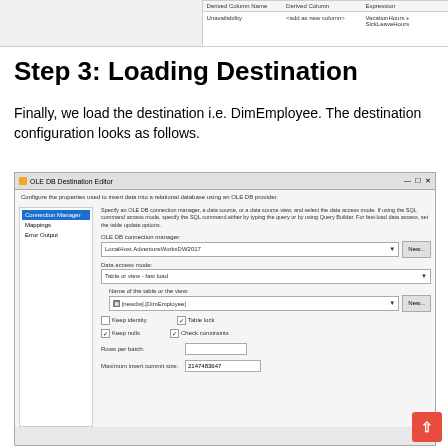[Figure (screenshot): Top portion of a Derived Column transformation editor showing columns: Derived Column Name, Derived Column, Expression with row: Unavailability, <add as new column>, VacationHours + SickLeaveHours]
Step 3: Loading Destination
Finally, we load the destination i.e. DimEmployee. The destination configuration looks as follows.
[Figure (screenshot): OLE DB Destination Editor dialog showing Connection Manager tab selected with navigation items (Connection Manager, Mappings, Error Output). OLE DB connection manager: LocalHost.AdventureWorksDW2017 with New button. Data access mode: Table or view - fast load. Name of the table or the view: [newdw].[DimEmployee] with New button. Checkboxes: Keep identity (unchecked), Table lock (checked), Keep nulls (checked), Check constraints (checked). Rows per batch: (empty). Maximum insert commit size: 2147483647.]